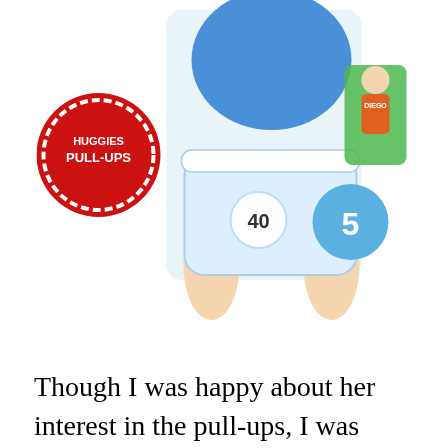[Figure (photo): Partial image of a box of Huggies Pull-Ups training pants size 5, showing a toddler boy wearing a pull-up diaper from behind, with the number 40 visible on the diaper and a blue circle showing the number 5 for size. A cartoon character (Go Diego) is visible on the right side of the box.]
Though I was happy about her interest in the pull-ups, I was concerned that they would be padded for boys, not girls. Since I couldn't find anything on the box stating that they were specific to gender (except for the boys on the box wearing them) and the store representative told me they were all padded the same, I went for it. I have to say, it is making my life easier. Now Lilah is happy to put on her pull-ups when she puts on her jammies (since they are like underpants, not diapers). This means we haven't had any night time accidents from me forgetting to put her diapers